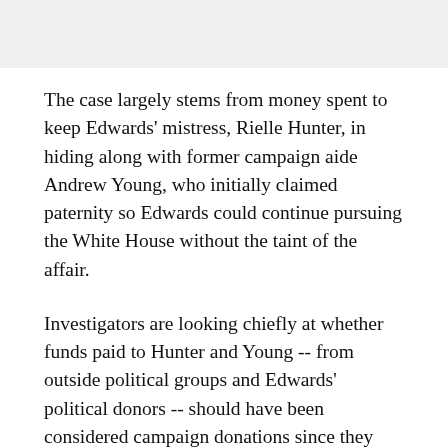The case largely stems from money spent to keep Edwards' mistress, Rielle Hunter, in hiding along with former campaign aide Andrew Young, who initially claimed paternity so Edwards could continue pursuing the White House without the taint of the affair.
Investigators are looking chiefly at whether funds paid to Hunter and Young -- from outside political groups and Edwards' political donors -- should have been considered campaign donations since they arguably aided his presidential bid, according to several people involved in the case who spoke on condition of anonymity because of the ongoing